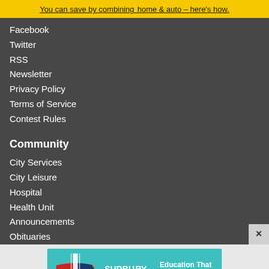You can save by combining home & auto – here's how.
Facebook
Twitter
RSS
Newsletter
Privacy Policy
Terms of Service
Contest Rules
Community
City Services
City Leisure
Hospital
Health Unit
Announcements
Obituaries
[Figure (illustration): Sudbury Catholic Schools advertisement banner with teal background, school crest logo, school name, 'Education That Inspires!' tagline, and 'Learn More' red button]